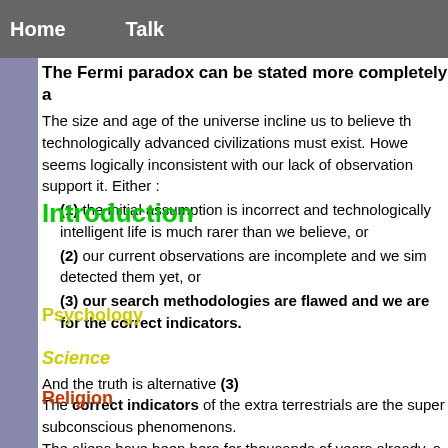Home   Talk
The Fermi paradox can be stated more completely a…
The size and age of the universe incline us to believe th… technologically advanced civilizations must exist. Howe… seems logically inconsistent with our lack of observation… support it. Either :
(1) the initial assumption is incorrect and technologically… intelligent life is much rarer than we believe, or
(2) our current observations are incomplete and we sim… detected them yet, or
(3) our search methodologies are flawed and we are… for the correct indicators.
Science
And the truth is alternative (3)
The correct indicators of the extra terrestrials are the super… subconscious phenomenons.
The aliens have been here for thousands of years already, a… radios.
You can't use radios to search for them if they don't use…
But instead they use quantum physics, and they are respons… subconsciousness, hearing voices, demons, Gods, religion, c…